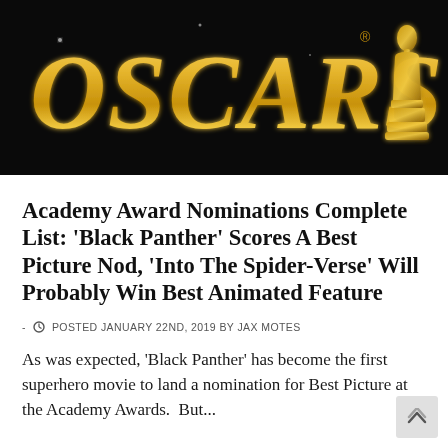[Figure (illustration): Oscars logo in gold metallic letters on a black background with an Oscar statuette silhouette on the right]
Academy Award Nominations Complete List: ‘Black Panther’ Scores A Best Picture Nod, ‘Into The Spider-Verse’ Will Probably Win Best Animated Feature
- POSTED JANUARY 22ND, 2019 BY JAX MOTES
As was expected, ‘Black Panther’ has become the first superhero movie to land a nomination for Best Picture at the Academy Awards.  But...